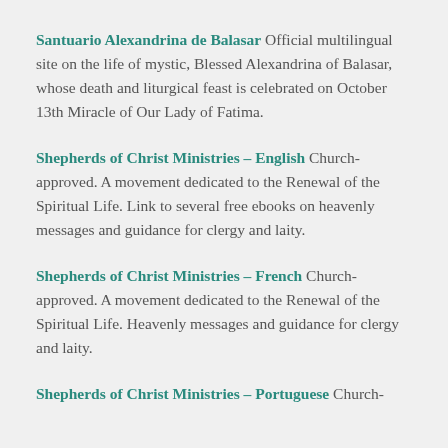Santuario Alexandrina de Balasar Official multilingual site on the life of mystic, Blessed Alexandrina of Balasar, whose death and liturgical feast is celebrated on October 13th Miracle of Our Lady of Fatima.
Shepherds of Christ Ministries – English Church-approved. A movement dedicated to the Renewal of the Spiritual Life. Link to several free ebooks on heavenly messages and guidance for clergy and laity.
Shepherds of Christ Ministries – French Church-approved. A movement dedicated to the Renewal of the Spiritual Life. Heavenly messages and guidance for clergy and laity.
Shepherds of Christ Ministries – Portuguese Church-